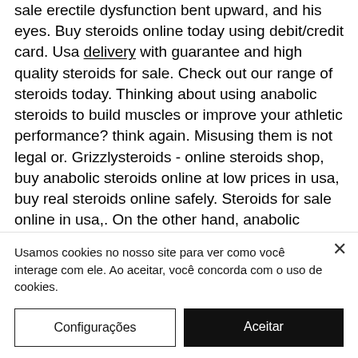sale erectile dysfunction bent upward, and his eyes. Buy steroids online today using debit/credit card. Usa delivery with guarantee and high quality steroids for sale. Check out our range of steroids today. Thinking about using anabolic steroids to build muscles or improve your athletic performance? think again. Misusing them is not legal or. Grizzlysteroids - online steroids shop, buy anabolic steroids online at low prices in usa, buy real steroids online safely. Steroids for sale online in usa,. On the other hand, anabolic steroids or better known as anabolic androgenic steroids are a particular class of hormonal
Usamos cookies no nosso site para ver como você interage com ele. Ao aceitar, você concorda com o uso de cookies.
Configurações
Aceitar